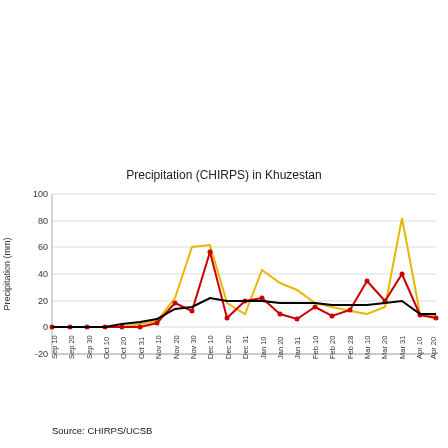[Figure (line-chart): Precipitation (CHIRPS) in Khuzestan]
Source: CHIRPS/UCSB